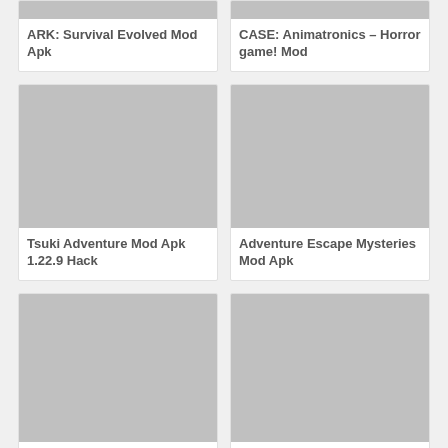[Figure (screenshot): ARK: Survival Evolved Mod Apk game card with grey placeholder image]
ARK: Survival Evolved Mod Apk
[Figure (screenshot): CASE: Animatronics – Horror game! Mod game card with grey placeholder image]
CASE: Animatronics – Horror game! Mod
[Figure (screenshot): Tsuki Adventure Mod Apk 1.22.9 Hack game card with grey placeholder image]
Tsuki Adventure Mod Apk 1.22.9 Hack
[Figure (screenshot): Adventure Escape Mysteries Mod Apk game card with grey placeholder image]
Adventure Escape Mysteries Mod Apk
[Figure (screenshot): Rocky Rampage: Wreck 'em Up Mod game card with grey placeholder image]
Rocky Rampage: Wreck 'em Up Mod
[Figure (screenshot): Hidden Island: Finding Hidden game card with grey placeholder image]
Hidden Island: Finding Hidden